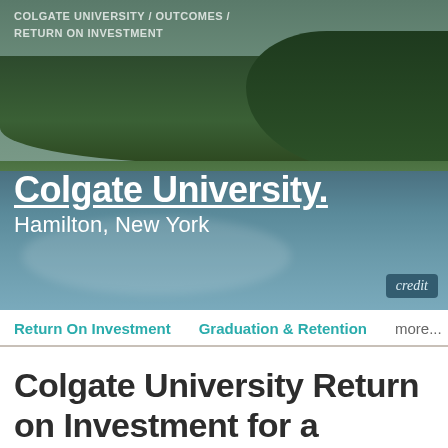[Figure (photo): Aerial/landscape photo of Colgate University campus showing trees, green lawn, and a reflective lake/pond, with a teal sky. Credit button visible in lower right corner.]
COLGATE UNIVERSITY / OUTCOMES / RETURN ON INVESTMENT
Colgate University
Hamilton, New York
credit
Return On Investment   Graduation & Retention   more...
Colgate University Return on Investment for a Degree